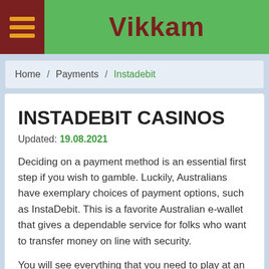Vikkam
Home / Payments / Instadebit
INSTADEBIT CASINOS
Updated: 19.08.2021
Deciding on a payment method is an essential first step if you wish to gamble. Luckily, Australians have exemplary choices of payment options, such as InstaDebit. This is a favorite Australian e-wallet that gives a dependable service for folks who want to transfer money on line with security.
You will see everything that you need to play at an InstaDebit casino in Australia in this guide. It offers a detail by detail explanation on how to utilize it, a listing of